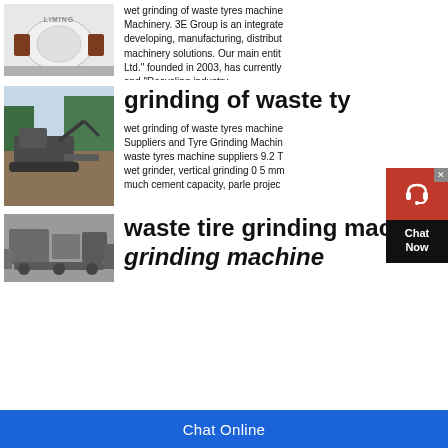[Figure (photo): Industrial grinding machinery with LIMING branding, white machine with red/brown parts in a factory setting]
wet grinding of waste tyres machine… Machinery. 3E Group is an integrated developing, manufacturing, distribut… machinery solutions. Our main entit… Ltd." founded in 2003, has currently and "Recycling industry
[Figure (photo): Large excavator/crushing machine on a job site with trees in background]
grinding of waste ty…
wet grinding of waste tyres machine… Suppliers and Tyre Grinding Machin… waste tyres machine suppliers 9.2 T… wet grinder, vertical grinding 0 5 mm… much cement capacity, parle projec…
[Figure (photo): Industrial waste tire grinding machine equipment, heavy machinery in gray/dark tones]
waste tire grinding mach… grinding machine
Chat Online